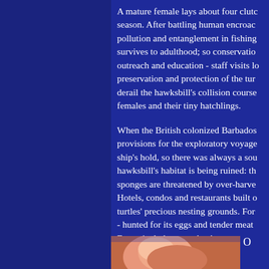A mature female lays about four clutches per season. After battling human encroachment, pollution and entanglement in fishing nets, few survives to adulthood; so conservation through outreach and education - staff visits local schools - preservation and protection of the turtle are crucial to derail the hawksbill's collision course with females and their tiny hatchlings.
When the British colonized Barbados, turtles were provisions for the exploratory voyages, stored alive in ship's hold, so there was always a source of food. The hawksbill's habitat is being ruined: the coral reef sponges are threatened by over-harvesting of corals. Hotels, condos and restaurants built on or near the turtles' precious nesting grounds. For centuries it was - hunted for its eggs and tender meat and its shell. Extensively harvested, what was once large populations of hawksbill sea turtles have become an endangered species. In 1998 the government passed a includes a total moratorium of all sea turtles (and eggs) in an effort to discourage hunting.
[Figure (photo): Partial view of what appears to be a person or animal, visible at bottom of page, with pinkish/skin tones]